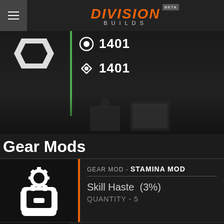DIVISION BUILDS BETA
[Figure (screenshot): Dark background game scene with a character silhouette at a computer terminal. White gear icon and stats showing 1401 values with a green vertical bar accent.]
1401
1401
Gear Mods
[Figure (illustration): White icon of a backpack with gear cog symbol on dark background]
GEAR MOD - STAMINA MOD
Skill Haste  (3%)
QUANTITY - 5
[Figure (illustration): Partial white circular icon at bottom of page]